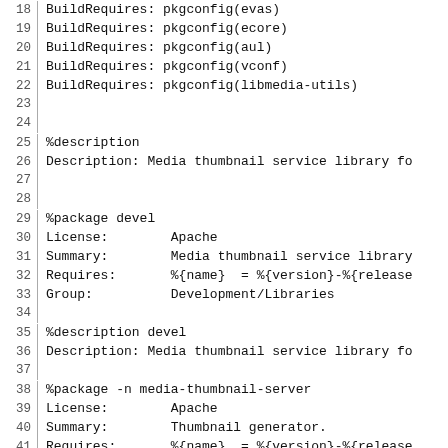18  BuildRequires: pkgconfig(evas)
19  BuildRequires: pkgconfig(ecore)
20  BuildRequires: pkgconfig(aul)
21  BuildRequires: pkgconfig(vconf)
22  BuildRequires: pkgconfig(libmedia-utils)
23
24
25  %description
26  Description: Media thumbnail service library fo
27
28
29  %package devel
30  License:        Apache
31  Summary:        Media thumbnail service library
32  Requires:       %{name}  = %{version}-%{release
33  Group:          Development/Libraries
34
35  %description devel
36  Description: Media thumbnail service library fo
37
38  %package -n media-thumbnail-server
39  License:        Apache
40  Summary:        Thumbnail generator.
41  Requires:       %{name}  = %{version}-%{release
42  Group:          Development/Libraries
43
44  %description -n media-thumbnail-server
45  Description: Media Thumbnail Server.
46
47